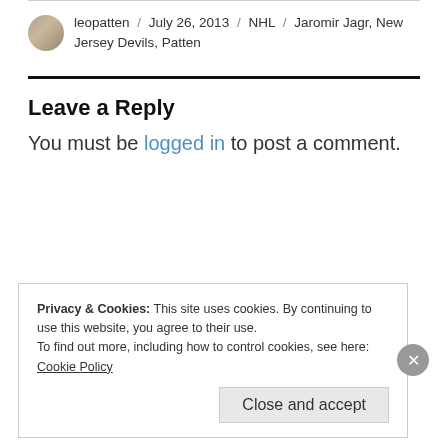leopatten / July 26, 2013 / NHL / Jaromir Jagr, New Jersey Devils, Patten
Leave a Reply
You must be logged in to post a comment.
Privacy & Cookies: This site uses cookies. By continuing to use this website, you agree to their use.
To find out more, including how to control cookies, see here:
Cookie Policy
Close and accept